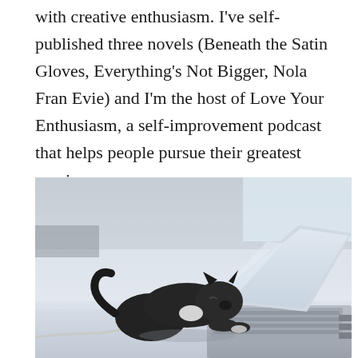with creative enthusiasm. I've self-published three novels (Beneath the Satin Gloves, Everything's Not Bigger, Nola Fran Evie) and I'm the host of Love Your Enthusiasm, a self-improvement podcast that helps people pursue their greatest passions.
[Figure (photo): A small black and white kitten standing on a desk, sniffing or nuzzling the hinge area of an open laptop computer, with a cable on the desk surface.]